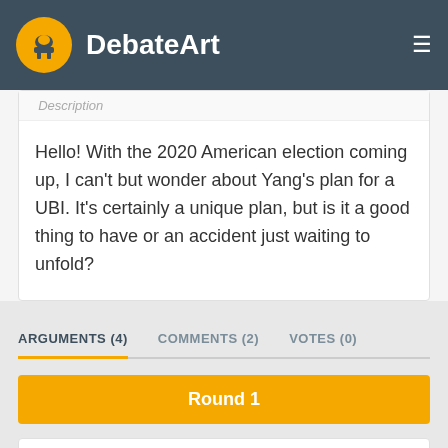DebateArt
Description
Hello! With the 2020 American election coming up, I can't but wonder about Yang's plan for a UBI. It's certainly a unique plan, but is it a good thing to have or an accident just waiting to unfold?
ARGUMENTS (4)   COMMENTS (2)   VOTES (0)
Round 1
DynamicSquid   Pro  #1
11.02.19 11:12PM
Hello Madman. Glad you could accept my debate. Let's begin...